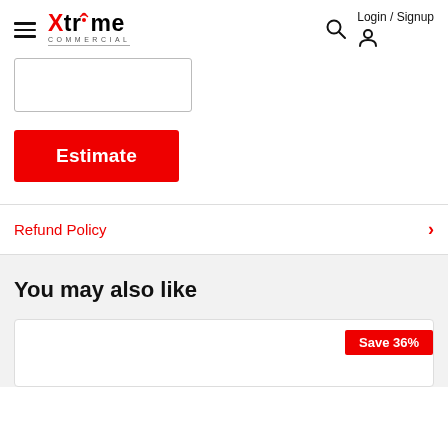Xtreme Commercial — Login / Signup
[Figure (screenshot): Input box / form field placeholder, partially visible]
Estimate
Refund Policy
You may also like
[Figure (screenshot): Product card with Save 36% badge]